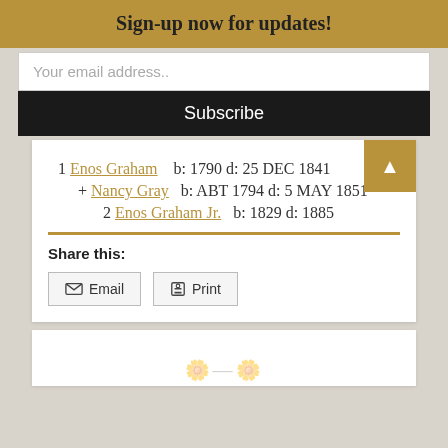Sign-up now for updates!
Your email address..
Subscribe
1 Enos Graham    b: 1790 d: 25 DEC 1841
+ Nancy Gray    b: ABT 1794 d: 5 MAY 1851
2 Enos Graham Jr.    b: 1829 d: 1885
Share this:
Email
Print